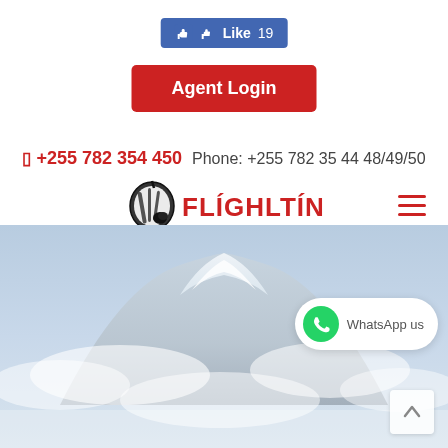[Figure (other): Facebook Like button showing thumbs up icon, blue background, 'Like 19']
[Figure (other): Red 'Agent Login' button]
+255 782 354 450   Phone: +255 782 35 44 48/49/50
[Figure (logo): Flightlink logo: zebra/Africa silhouette icon with red FLIGHTLINK text, hamburger menu icon on right]
[Figure (photo): Photo of mountain (Kilimanjaro) with snow cap against blue-grey sky and clouds]
[Figure (other): WhatsApp us button with green WhatsApp icon]
[Figure (other): Scroll-to-top arrow button]